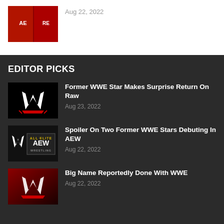[Figure (photo): Thumbnail image of a person in a red shirt with AE text visible]
Aug 22, 2022
EDITOR PICKS
[Figure (logo): WWE logo on black background]
Former WWE Star Makes Surprise Return On Raw
Aug 23, 2022
[Figure (logo): WWE and AEW All Elite Wrestling logos side by side on black background]
Spoiler On Two Former WWE Stars Debuting In AEW
Aug 22, 2022
[Figure (logo): WWE logo on dark red background]
Big Name Reportedly Done With WWE
Aug 22, 2022